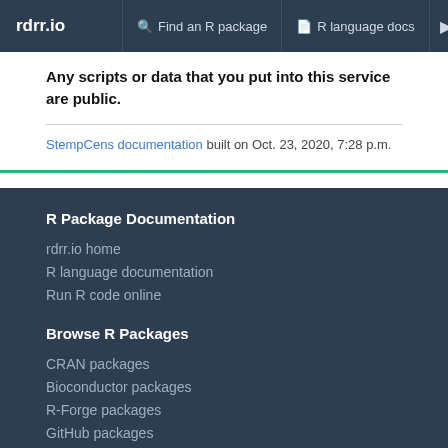rdrr.io  Find an R package  R language docs
Any scripts or data that you put into this service are public.
StempCens documentation built on Oct. 23, 2020, 7:28 p.m.
R Package Documentation
rdrr.io home
R language documentation
Run R code online
Browse R Packages
CRAN packages
Bioconductor packages
R-Forge packages
GitHub packages